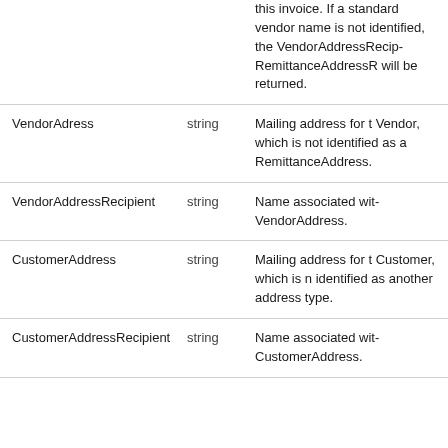| Field | Type | Description |
| --- | --- | --- |
|  |  | this invoice. If a standard vendor name is not identified, the VendorAddressRecipient, RemittanceAddressRecipient will be returned. |
| VendorAdress | string | Mailing address for the Vendor, which is not identified as a RemittanceAddress. |
| VendorAddressRecipient | string | Name associated with the VendorAddress. |
| CustomerAddress | string | Mailing address for the Customer, which is not identified as another address type. |
| CustomerAddressRecipient | string | Name associated with the CustomerAddress. |